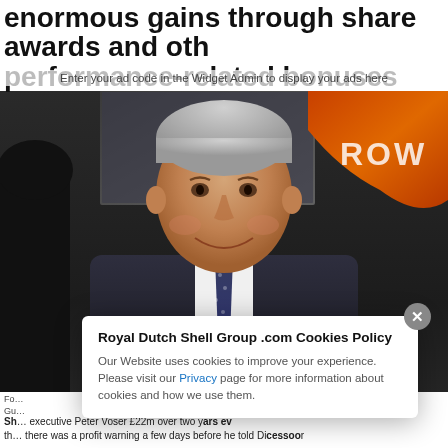enormous gains through share awards and other performance-related bonuses
Enter your ad code in the Widget Admin to display your ads here
[Figure (photo): A man in a dark suit and patterned tie smiling, seated at an event. A large screen and orange/red branded logo are visible in the background (partially showing text 'ROW...'). A second person in a dark suit is partially visible on the left.]
Fo... Photograph: Gu...
Shell paid chief executive Peter Voser £22m over two years even though there was a profit warning afew days before he told Directors successor
Royal Dutch Shell Group .com Cookies Policy
Our Website uses cookies to improve your experience. Please visit our Privacy page for more information about cookies and how we use them.